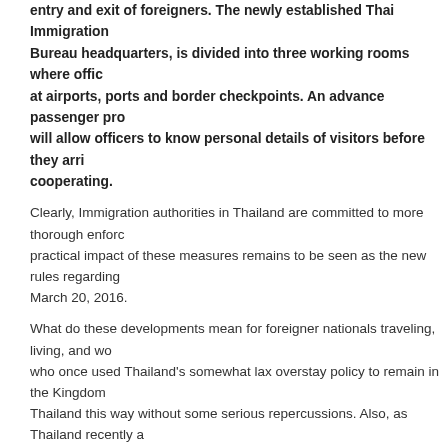entry and exit of foreigners. The newly established Thai Immigration Bureau headquarters, is divided into three working rooms where officers at airports, ports and border checkpoints. An advance passenger pro will allow officers to know personal details of visitors before they arri cooperating.
Clearly, Immigration authorities in Thailand are committed to more thorough enforcement. The practical impact of these measures remains to be seen as the new rules regarding March 20, 2016.
What do these developments mean for foreigner nationals traveling, living, and working who once used Thailand's somewhat lax overstay policy to remain in the Kingdom. Thailand this way without some serious repercussions. Also, as Thailand recently amended its exemption stamp policies it seems clear that although true long term tourists will be fine, those who simply use tourist visas as a means of living in Thailand will see this avenue closed.
The Thai business visa remains a viable option for some who wish to remain in Thailand. Those who can avail themselves of the O visa to remain in Thailand with their family. Meanwhile and the Thai Education visa are also methods of maintaining long term status in Thailand.
Tags: blacklisted Thailand, Immigration Blacklist, Immigration Blacklist Thailand, o Business Visa, Thai Education Visa, Thai Immigration, Thai Immigration 24/7 Center Visa, Thai Tourist Visa, Thai Visa, Thailand Blacklist, Thailand Immigration, Thailand visa overstay Thailand
Posted in Thailand Visa | No Comments »